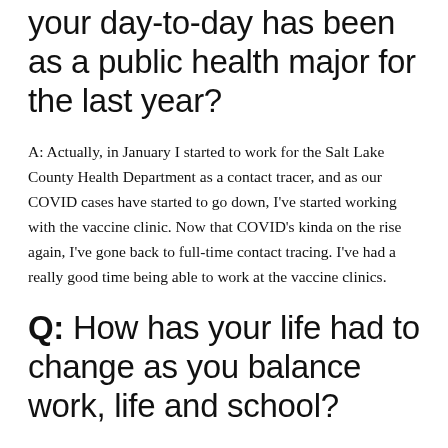your day-to-day has been as a public health major for the last year?
A: Actually, in January I started to work for the Salt Lake County Health Department as a contact tracer, and as our COVID cases have started to go down, I've started working with the vaccine clinic. Now that COVID's kinda on the rise again, I've gone back to full-time contact tracing. I've had a really good time being able to work at the vaccine clinics.
Q: How has your life had to change as you balance work, life and school?